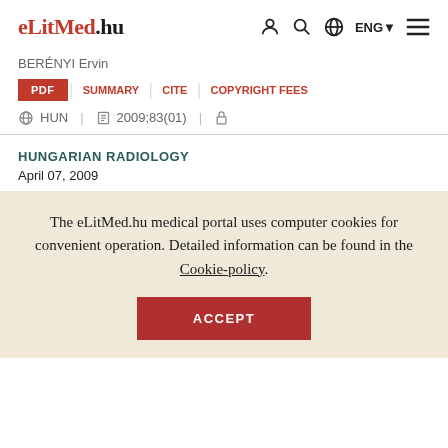eLitMed.hu | nav icons: user, search, globe, ENG, menu
BERÉNYI Ervin
PDF | SUMMARY | CITE | COPYRIGHT FEES
HUN | 2009;83(01) | lock icon
HUNGARIAN RADIOLOGY
APRIL 07, 2009
The eLitMed.hu medical portal uses computer cookies for convenient operation. Detailed information can be found in the Cookie-policy.
ACCEPT